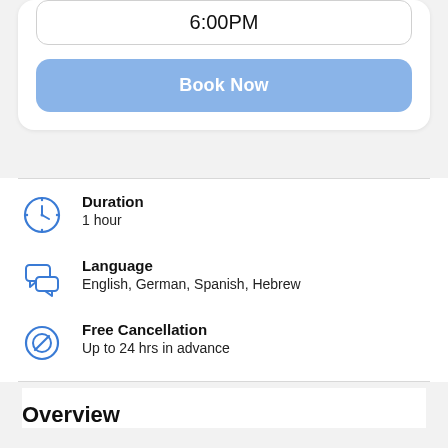6:00PM
Book Now
Duration
1 hour
Language
English, German, Spanish, Hebrew
Free Cancellation
Up to 24 hrs in advance
Overview